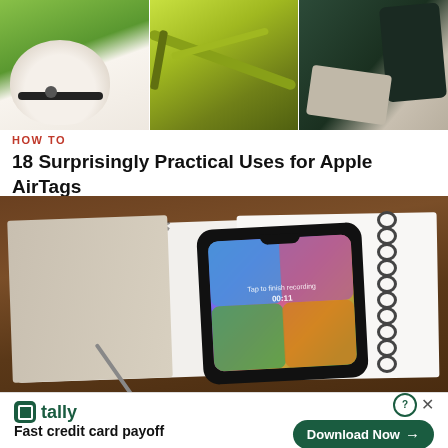[Figure (photo): Three-panel top image strip: left panel shows white dog with black collar on green grass, center panel shows yellow-green bicycle frame, right panel shows hand holding dark phone/wallet]
HOW TO
18 Surprisingly Practical Uses for Apple AirTags
[Figure (photo): Smartphone with colorful screen (Siri/unlock screen with text 'Tap to finish recording 00:11') resting on a spiral-bound notebook on a wooden surface]
[Figure (other): Advertisement banner for Tally app: logo with green icon, tagline 'Fast credit card payoff', Download Now button, close and question mark controls]